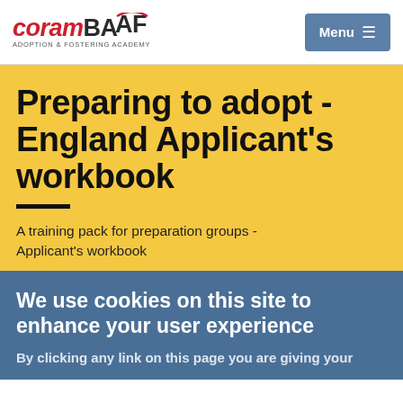coram BAAF ADOPTION & FOSTERING ACADEMY | Menu
Preparing to adopt - England Applicant's workbook
A training pack for preparation groups - Applicant's workbook
We use cookies on this site to enhance your user experience
By clicking any link on this page you are giving your